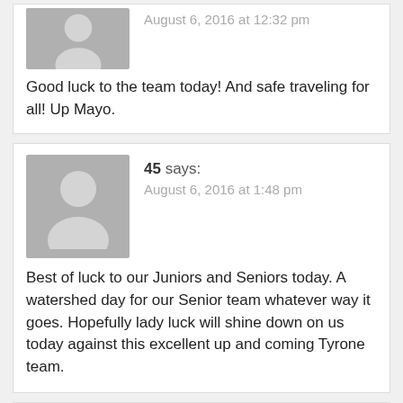[Figure (illustration): Anonymous user avatar (gray silhouette)]
August 6, 2016 at 12:32 pm
Good luck to the team today! And safe traveling for all! Up Mayo.
[Figure (illustration): Anonymous user avatar (gray silhouette)]
45 says:
August 6, 2016 at 1:48 pm
Best of luck to our Juniors and Seniors today. A watershed day for our Senior team whatever way it goes. Hopefully lady luck will shine down on us today against this excellent up and coming Tyrone team.
[Figure (illustration): Anonymous user avatar (gray silhouette)]
Mister Mayor says:
August 6, 2016 at 2:02 pm